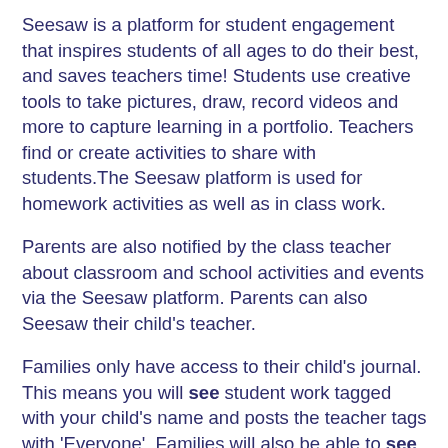Seesaw is a platform for student engagement that inspires students of all ages to do their best, and saves teachers time! Students use creative tools to take pictures, draw, record videos and more to capture learning in a portfolio. Teachers find or create activities to share with students.The Seesaw platform is used for homework activities as well as in class work.
Parents are also notified by the class teacher about classroom and school activities and events via the Seesaw platform. Parents can also Seesaw their child's teacher.
Families only have access to their child's journal. This means you will see student work tagged with your child's name and posts the teacher tags with 'Everyone'. Families will also be able to see any comment made by another user on their child's journal posts.